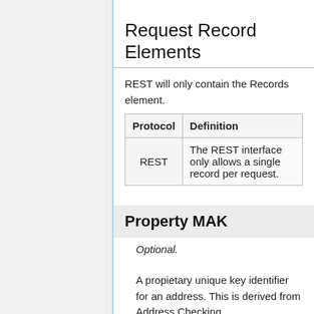Request Record Elements
REST will only contain the Records element.
| Protocol | Definition |
| --- | --- |
| REST | The REST interface only allows a single record per request. |
Property MAK
Optional.
A propietary unique key identifier for an address. This is derived from Address Checking.
| Protocol | Syntax |
| --- | --- |